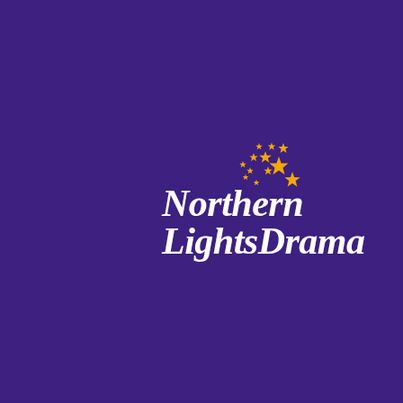[Figure (logo): Northern Lights Drama logo: white cursive/script text reading 'Northern LightsDrama' with yellow/gold stars arranged in a swirling arc to the upper right]